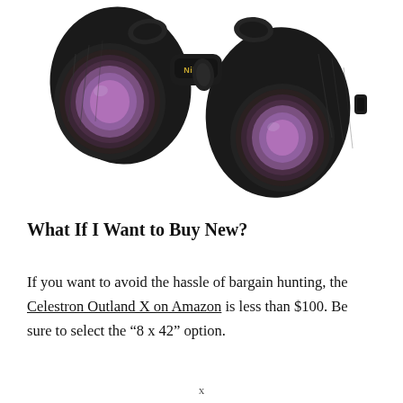[Figure (photo): Black Nikon binoculars photographed at an angle showing both objective lenses with purple-tinted glass, the Nikon logo visible on the bridge, and textured rubber grip on the body.]
What If I Want to Buy New?
If you want to avoid the hassle of bargain hunting, the Celestron Outland X on Amazon is less than $100. Be sure to select the “8 x 42” option.